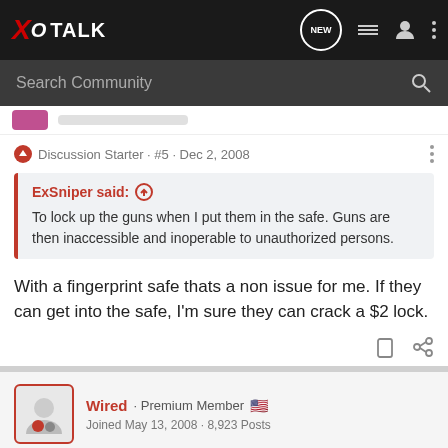XO TALK
Search Community
Discussion Starter · #5 · Dec 2, 2008
ExSniper said: ↑
To lock up the guns when I put them in the safe. Guns are then inaccessible and inoperable to unauthorized persons.
With a fingerprint safe thats a non issue for me. If they can get into the safe, I'm sure they can crack a $2 lock.
Wired · Premium Member 🇺🇸
Joined May 13, 2008 · 8,923 Posts